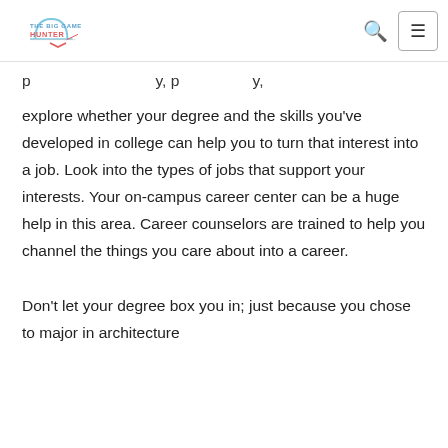THE BIG GAME HUNTER
explore whether your degree and the skills you've developed in college can help you to turn that interest into a job. Look into the types of jobs that support your interests. Your on-campus career center can be a huge help in this area. Career counselors are trained to help you channel the things you care about into a career.
Don't let your degree box you in; just because you chose to major in architecture